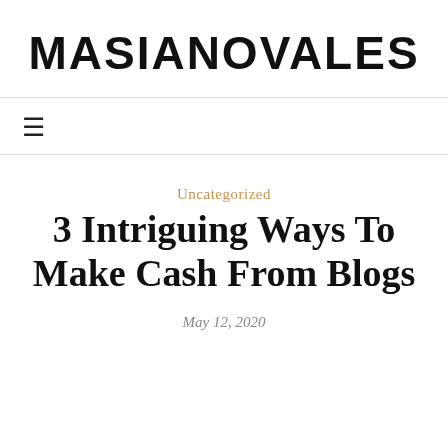MASIANOVALES
≡
Uncategorized
3 Intriguing Ways To Make Cash From Blogs
May 12, 2020